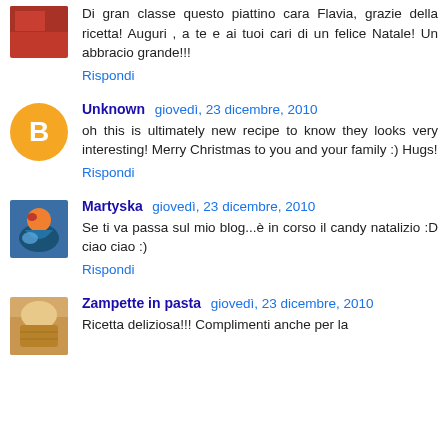Di gran classe questo piattino cara Flavia, grazie della ricetta! Auguri , a te e ai tuoi cari di un felice Natale! Un abbracio grande!!!
Rispondi
Unknown  giovedì, 23 dicembre, 2010
oh this is ultimately new recipe to know they looks very interesting! Merry Christmas to you and your family :) Hugs!
Rispondi
Martyska  giovedì, 23 dicembre, 2010
Se ti va passa sul mio blog...è in corso il candy natalizio :D ciao ciao :)
Rispondi
Zampette in pasta  giovedì, 23 dicembre, 2010
Ricetta deliziosa!!! Complimenti anche per la